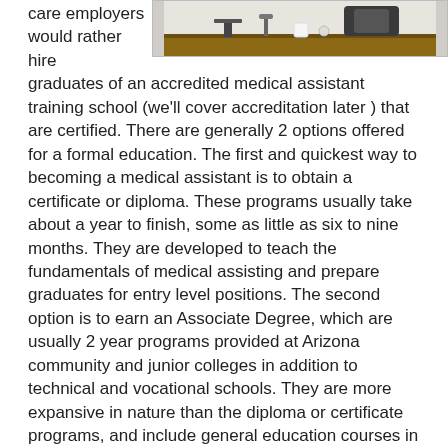care employers would rather hire
[Figure (photo): Photo of medical/office equipment on a desk, partially visible at the top of the page]
graduates of an accredited medical assistant training school (we'll cover accreditation later ) that are certified. There are generally 2 options offered for a formal education. The first and quickest way to becoming a medical assistant is to obtain a certificate or diploma. These programs usually take about a year to finish, some as little as six to nine months. They are developed to teach the fundamentals of medical assisting and prepare graduates for entry level positions. The second option is to earn an Associate Degree, which are usually 2 year programs provided at Arizona community and junior colleges in addition to technical and vocational schools. They are more expansive in nature than the diploma or certificate programs, and include general education courses in addition to the medical assistant training. They often have a practical component involving an internship with a local healthcare facility. Associate Degrees are routinely a pre-requisite for and credits can be transferred to a 4 year